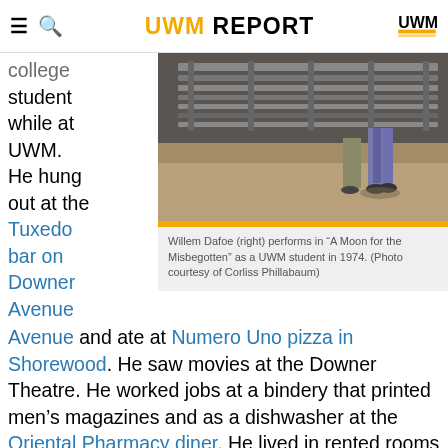UWM REPORT
college student while at UWM. He hung out at the Tuxedo bar on Downer Avenue and ate at Numero Uno pizza in Shorewood. He saw movies at the Downer Theatre. He worked jobs at a bindery that printed men's magazines and as a dishwasher at the Oriental Pharmacy diner. He lived in rented rooms and at friends' apartments, and survived the ceiling collapse. At an apartment on Farwell Avenue, one of his roommates was a 4-foot-long golden
[Figure (photo): Willem Dafoe performing in A Moon for the Misbegotten as a UWM student, 1974. Person visible from waist down near metal scaffolding or bleachers.]
Willem Dafoe (right) performs in “A Moon for the Misbegotten” as a UWM student in 1974. (Photo courtesy of Corliss Phillabaum)